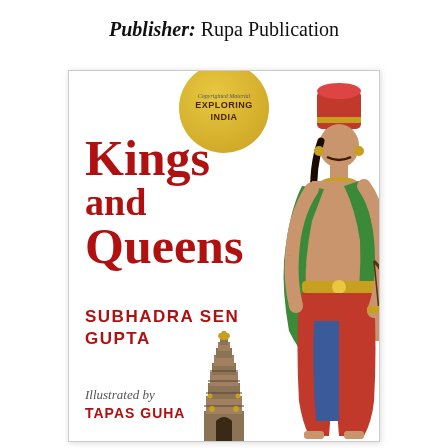Publisher: Rupa Publication
[Figure (illustration): Book cover for 'Kings and Queens' by Subhadra Sen Gupta, illustrated by Tapas Guha. Published by Rupa Publication under the 'Exploring India' series. Cover shows a large red title text, an illustration of an ancient Indian king in traditional attire (red turban, green drape, bow), a South Indian temple gopuram illustration, and a gold circular badge reading 'Exploring India / Copyrighted Material'.]